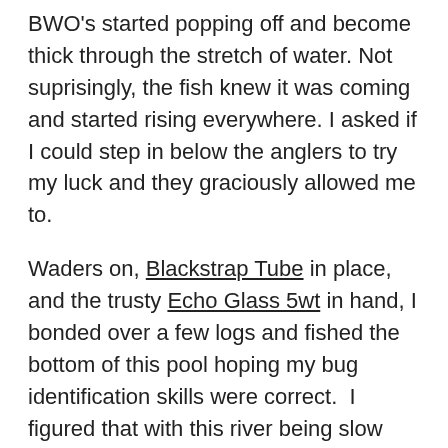BWO's started popping off and become thick through the stretch of water. Not suprisingly, the fish knew it was coming and started rising everywhere. I asked if I could step in below the anglers to try my luck and they graciously allowed me to.
Waders on, Blackstrap Tube in place, and the trusty Echo Glass 5wt in hand, I bonded over a few logs and fished the bottom of this pool hoping my bug identification skills were correct.  I figured that with this river being slow and clear these fish were going to need the soft presentation and light tippet this rod lays out softly and smoothly. A little 5x and size 16-18 tied on, I was ready to try my luck.
Now I may not be the best caster on the planet, but I can get the bug where it needs to be and I soon